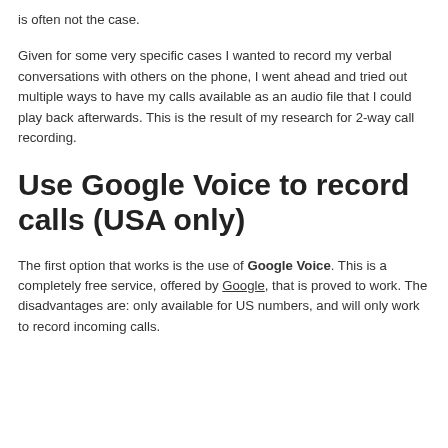is often not the case.
Given for some very specific cases I wanted to record my verbal conversations with others on the phone, I went ahead and tried out multiple ways to have my calls available as an audio file that I could play back afterwards. This is the result of my research for 2-way call recording.
Use Google Voice to record calls (USA only)
The first option that works is the use of Google Voice. This is a completely free service, offered by Google, that is proved to work. The disadvantages are: only available for US numbers, and will only work to record incoming calls.